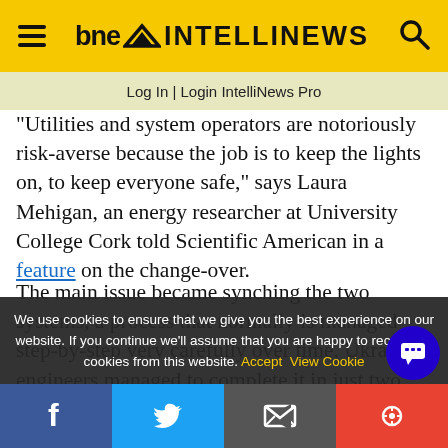bne INTELLINEWS
Log In | Login IntelliNews Pro
"Utilities and system operators are notoriously risk-averse because the job is to keep the lights on, to keep everyone safe," says Laura Mehigan, an energy researcher at University College Cork told Scientific American in a feature on the change-over.
The main issue became synching the two systems, a process that normally is managed step-by-step very carefully over time. Ukraine's engineers managed to complete it in just two weeks, by March
We use cookies to ensure that we give you the best experience on our website. If you continue we'll assume that you are happy to receive all cookies from this website. Accept  View Cookie